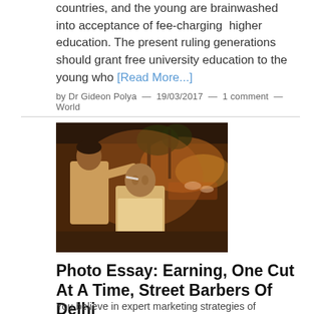countries, and the young are brainwashed into acceptance of fee-charging higher education. The present ruling generations should grant free university education to the young who [Read More...]
by Dr Gideon Polya — 19/03/2017 — 1 comment — World
[Figure (photo): Street barber working on a customer outdoors at night with traffic in the background, Delhi]
Photo Essay: Earning, One Cut At A Time, Street Barbers Of Delhi
You believe in expert marketing strategies of moustached-uncles sitting patiently inside wholesale